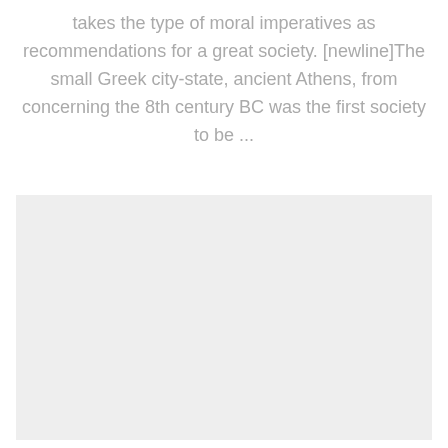takes the type of moral imperatives as recommendations for a great society. [newline]The small Greek city-state, ancient Athens, from concerning the 8th century BC was the first society to be ...
[Figure (other): A light gray rectangular placeholder image area]